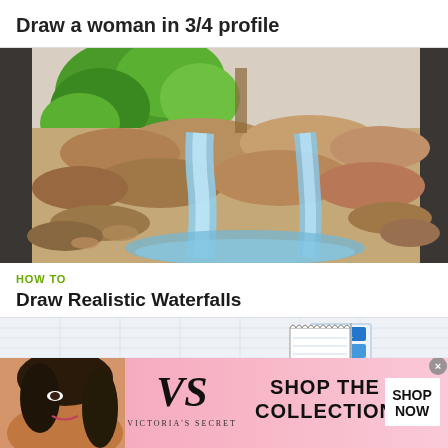Draw a woman in 3/4 profile
[Figure (illustration): A colored pencil drawing of a realistic waterfall scene with rocks, flowing water, and green trees in the background]
HOW TO
Draw Realistic Waterfalls
[Figure (screenshot): A partial screenshot showing a drawing tutorial interface with step navigation (Step 1, Step 2) and a notebook/paper illustration]
[Figure (illustration): Victoria's Secret advertisement banner with a model, VS logo, VICTORIA'S SECRET text, SHOP THE COLLECTION text, and a SHOP NOW button]